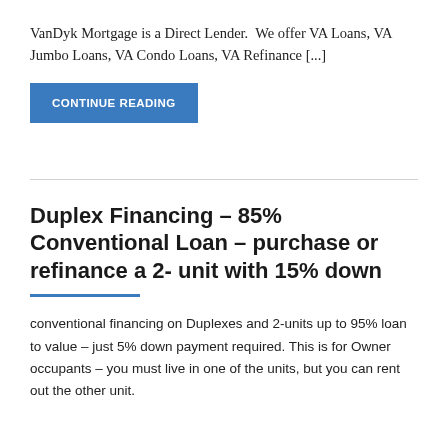VanDyk Mortgage is a Direct Lender.  We offer VA Loans, VA Jumbo Loans, VA Condo Loans, VA Refinance [...]
CONTINUE READING
Duplex Financing – 85% Conventional Loan – purchase or refinance a 2- unit with 15% down
conventional financing on Duplexes and 2-units up to 95% loan to value – just 5% down payment required. This is for Owner occupants – you must live in one of the units, but you can rent out the other unit.